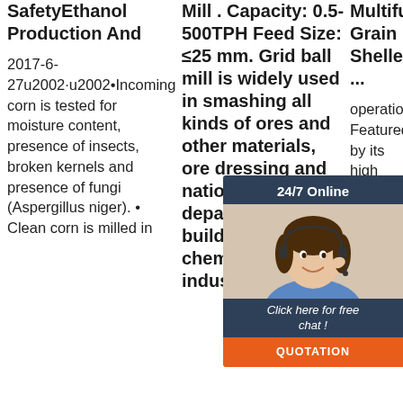SafetyEthanol Production And
2017-6-27u2002·u2002• Incoming corn is tested for moisture content, presence of insects, broken kernels and presence of fungi (Aspergillus niger). • Clean corn is milled in
Mill . Capacity: 0.5-500TPH Feed Size: ≤25 mm. Grid ball mill is widely used in smashing all kinds of ores and other materials, ore dressing and national economic departments like building and chemical industries etc
Multifunction Grain Sheller ...
operation. Featured by its high production rate, good threshing
[Figure (other): Chat widget overlay showing a customer service representative with headset, dark blue background, '24/7 Online' header, 'Click here for free chat!' text, and orange QUOTATION button]